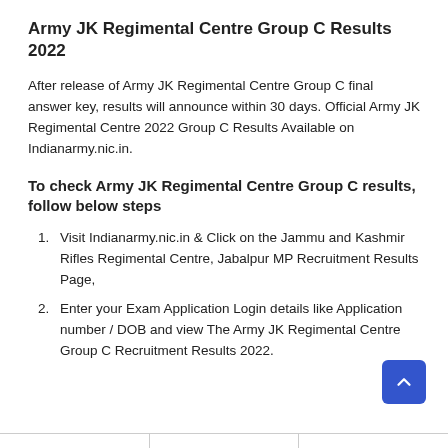Army JK Regimental Centre Group C Results 2022
After release of Army JK Regimental Centre Group C final answer key, results will announce within 30 days. Official Army JK Regimental Centre 2022 Group C Results Available on Indianarmy.nic.in.
To check Army JK Regimental Centre Group C results, follow below steps
Visit Indianarmy.nic.in & Click on the Jammu and Kashmir Rifles Regimental Centre, Jabalpur MP Recruitment Results Page,
Enter your Exam Application Login details like Application number / DOB and view The Army JK Regimental Centre Group C Recruitment Results 2022.